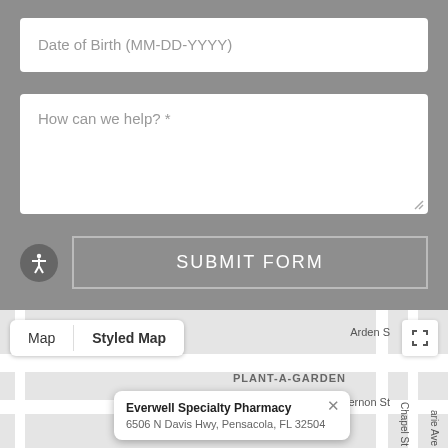Date of Birth (MM-DD-YYYY)
How can we help? *
SUBMIT FORM
[Figure (screenshot): Google Map showing Everwell Specialty Pharmacy location with tabs 'Map' and 'Styled Map', info popup showing '6506 N Davis Hwy, Pensacola, FL 32504', street labels including Arden St, Vernon St, Chapel St, and an info window with business name and address. PLANT-A-GARDEN label visible on map.]